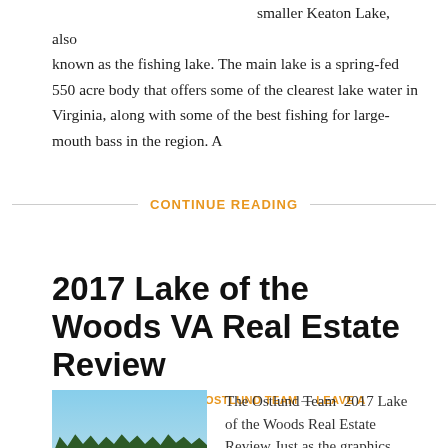smaller Keaton Lake, also known as the fishing lake. The main lake is a spring-fed 550 acre body that offers some of the clearest lake water in Virginia, along with some of the best fishing for large-mouth bass in the region. A
CONTINUE READING
2017 Lake of the Woods VA Real Estate Review
JANUARY 16, 2018 BY THE OSTLUND TEAM — LEAVE A COMMENT
[Figure (photo): Photo of a lake with trees and blue sky in the background, captioned '2017 Lake of the Woods']
The Ostlund Team  2017 Lake of the Woods Real Estate Review Just as the graphics